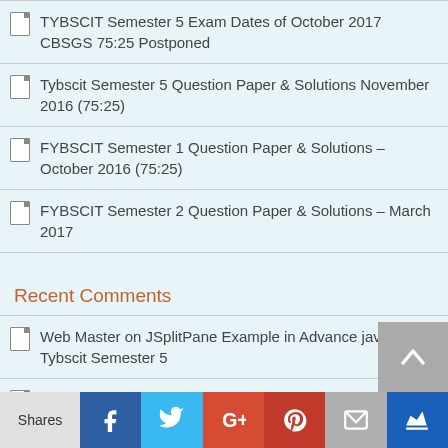TYBSCIT Semester 5 Exam Dates of October 2017 CBSGS 75:25 Postponed
Tybscit Semester 5 Question Paper & Solutions November 2016 (75:25)
FYBSCIT Semester 1 Question Paper & Solutions – October 2016 (75:25)
FYBSCIT Semester 2 Question Paper & Solutions – March 2017
Recent Comments
Web Master on JSplitPane Example in Advance java – Tybscit Semester 5
priya on JSplitPane Example in Advance java – Tybscit Semester 5